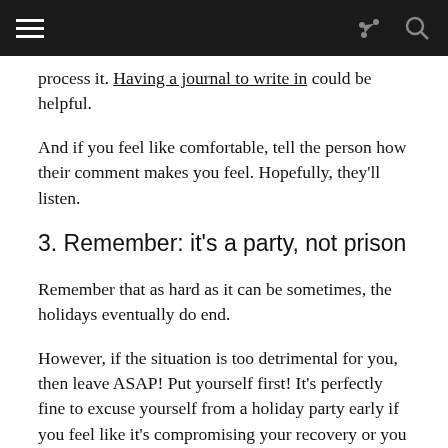[Navigation bar with hamburger menu, share icon, and search icon]
process it. Having a journal to write in could be helpful.
And if you feel like comfortable, tell the person how their comment makes you feel. Hopefully, they'll listen.
3. Remember: it's a party, not prison
Remember that as hard as it can be sometimes, the holidays eventually do end.
However, if the situation is too detrimental for you, then leave ASAP! Put yourself first! It's perfectly fine to excuse yourself from a holiday party early if you feel like it's compromising your recovery or you